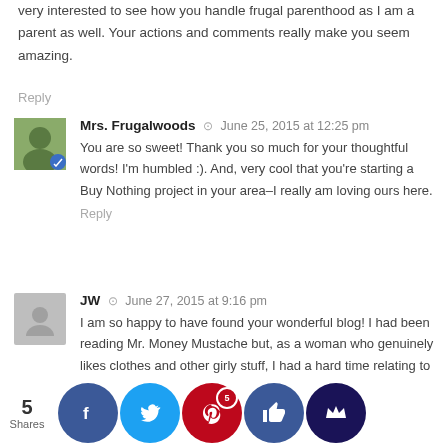very interested to see how you handle frugal parenthood as I am a parent as well. Your actions and comments really make you seem amazing.
Reply
Mrs. Frugalwoods  June 25, 2015 at 12:25 pm
You are so sweet! Thank you so much for your thoughtful words! I'm humbled :). And, very cool that you're starting a Buy Nothing project in your area–I really am loving ours here.
Reply
JW  June 27, 2015 at 9:16 pm
I am so happy to have found your wonderful blog! I had been reading Mr. Money Mustache but, as a woman who genuinely likes clothes and other girly stuff, I had a hard time relating to some of his philosophy. Which brings me to my slightly off-topic question: Can you do a post on how you deal with personal care-related expenses? I know you are cutting back on makeup and having your husband cut your hair (brave woman!) but what about other things. I am embarrassed to admit how much I spend on this stuff. I am not sure how to cut back. Some things are easy – I can start doing my own nails and can stop